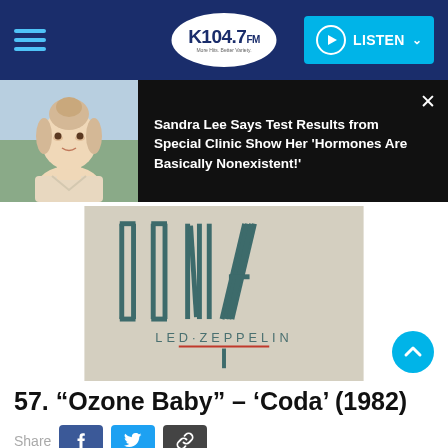K104.7 FM — Navigation bar with hamburger menu, logo, and LISTEN button
[Figure (screenshot): Notification popup showing Sandra Lee photo on left and headline text on right with close X button]
Sandra Lee Says Test Results from Special Clinic Show Her 'Hormones Are Basically Nonexistent!'
[Figure (photo): Led Zeppelin Coda album cover (1982) showing stylized CODA text in teal/dark green on beige background with LED·ZEPPELIN text and red underline]
57. “Ozone Baby” – ‘Coda’ (1982)
Share